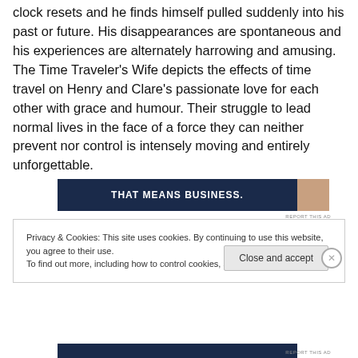clock resets and he finds himself pulled suddenly into his past or future. His disappearances are spontaneous and his experiences are alternately harrowing and amusing. The Time Traveler's Wife depicts the effects of time travel on Henry and Clare's passionate love for each other with grace and humour. Their struggle to lead normal lives in the face of a force they can neither prevent nor control is intensely moving and entirely unforgettable.
[Figure (screenshot): Advertisement banner with dark navy background showing text 'THAT MEANS BUSINESS.' and a partial image of a person on the right side.]
REPORT THIS AD
Privacy & Cookies: This site uses cookies. By continuing to use this website, you agree to their use.
To find out more, including how to control cookies, see here: Cookie Policy
Close and accept